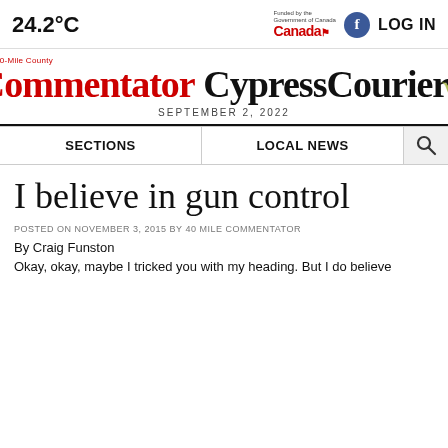24.2°C
[Figure (logo): Canada government logo with 'Funded by the Government of Canada' text, Facebook icon, and LOG IN text]
[Figure (logo): The 40-Mile County Commentator Cypress Courier newspaper masthead logo in red and black with wheat illustration]
SEPTEMBER 2, 2022
SECTIONS
LOCAL NEWS
I believe in gun control
POSTED ON NOVEMBER 3, 2015 BY 40 MILE COMMENTATOR
By Craig Funston
Okay, okay, maybe I tricked you with my heading. But I do believe